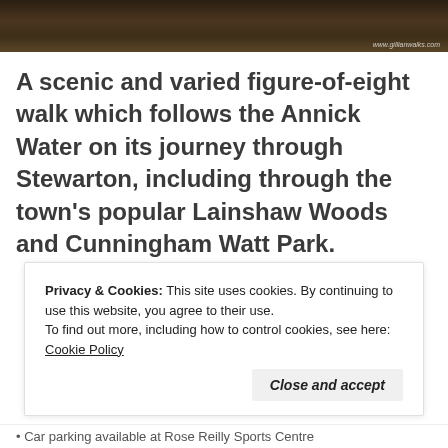[Figure (photo): Dark forest/woodland photo strip with watermark 'www.gillianwalks.com' in bottom right]
A scenic and varied figure-of-eight walk which follows the Annick Water on its journey through Stewarton, including through the town's popular Lainshaw Woods and Cunningham Watt Park.
Advertisements
Need a website quickly – and on a budget?
REPORT THIS AD
Privacy & Cookies: This site uses cookies. By continuing to use this website, you agree to their use.
To find out more, including how to control cookies, see here: Cookie Policy
Close and accept
• Car parking available at Rose Reilly Sports Centre